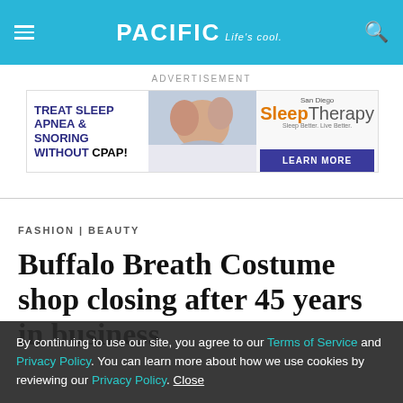PACIFIC Life's cool.
ADVERTISEMENT
[Figure (other): Advertisement banner for San Diego SleepTherapy: 'Treat Sleep Apnea & Snoring Without CPAP! Learn More']
FASHION | BEAUTY
Buffalo Breath Costume shop closing after 45 years in business
By continuing to use our site, you agree to our Terms of Service and Privacy Policy. You can learn more about how we use cookies by reviewing our Privacy Policy. Close